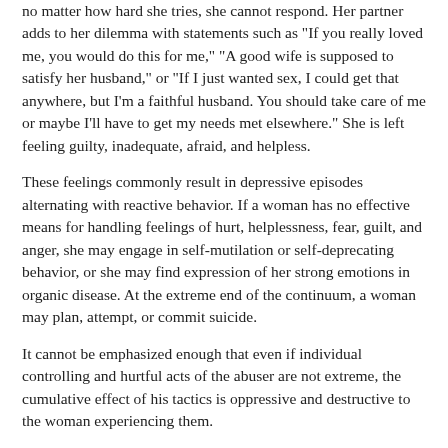no matter how hard she tries, she cannot respond. Her partner adds to her dilemma with statements such as "If you really loved me, you would do this for me," "A good wife is supposed to satisfy her husband," or "If I just wanted sex, I could get that anywhere, but I'm a faithful husband. You should take care of me or maybe I'll have to get my needs met elsewhere." She is left feeling guilty, inadequate, afraid, and helpless.
These feelings commonly result in depressive episodes alternating with reactive behavior. If a woman has no effective means for handling feelings of hurt, helplessness, fear, guilt, and anger, she may engage in self-mutilation or self-deprecating behavior, or she may find expression of her strong emotions in organic disease. At the extreme end of the continuum, a woman may plan, attempt, or commit suicide.
It cannot be emphasized enough that even if individual controlling and hurtful acts of the abuser are not extreme, the cumulative effect of his tactics is oppressive and destructive to the woman experiencing them.